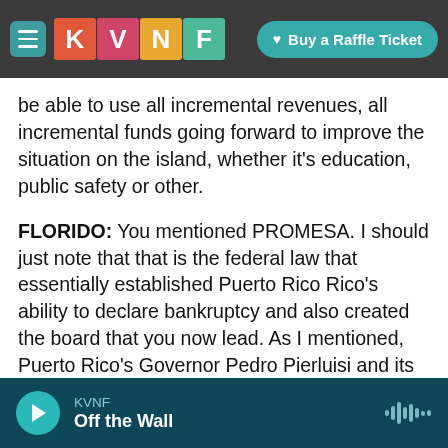KVNF — Buy a Raffle Ticket
be able to use all incremental revenues, all incremental funds going forward to improve the situation on the island, whether it's education, public safety or other.
FLORIDO: You mentioned PROMESA. I should just note that that is the federal law that essentially established Puerto Rico Rico's ability to declare bankruptcy and also created the board that you now lead. As I mentioned, Puerto Rico's Governor Pedro Pierluisi and its legislature both support this deal, but the deal has faced many criticisms from some prominent economists, from a lot of
KVNF Off the Wall